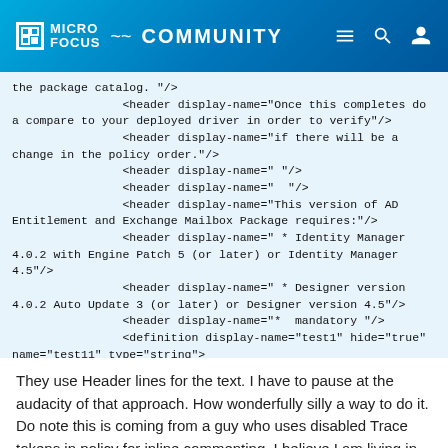MICRO FOCUS COMMUNITY
the package catalog. "/>
                <header display-name="Once this completes do a compare to your deployed driver in order to verify"/>
                <header display-name="if there will be a change in the policy order."/>
                <header display-name=" "/>
                <header display-name="  "/>
                <header display-name="This version of AD Entitlement and Exchange Mailbox Package requires:"/>
                <header display-name=" * Identity Manager 4.0.2 with Engine Patch 5 (or later) or Identity Manager 4.5"/>
                <header display-name=" * Designer version 4.0.2 Auto Update 3 (or later) or Designer version 4.5"/>
                <header display-name="*  mandatory "/>
                <definition display-name="test1" hide="true" name="test11" type="string">
                        <description>Dummy Text</description>
                        <value>Dummy</value>
                </definition>
        </definitions>
</configuration-values>
They use Header lines for the text. I have to pause at the audacity of that approach. How wonderfully silly a way to do it. Do note this is coming from a guy who uses disabled Trace tokens in policy for inline commenting. I believe I am living in that glass house and